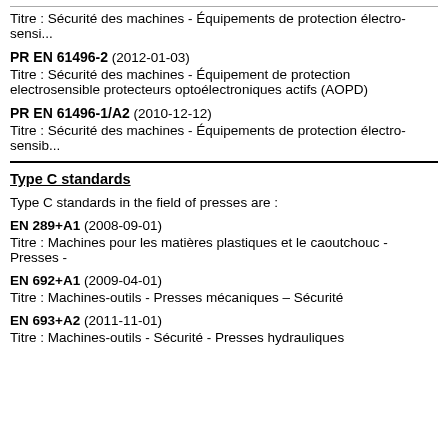Titre : Sécurité des machines - Équipements de protection électro-sensi...
PR EN 61496-2 (2012-01-03)
Titre : Sécurité des machines - Équipement de protection electrosensible protecteurs optoélectroniques actifs (AOPD)
PR EN 61496-1/A2 (2010-12-12)
Titre : Sécurité des machines - Équipements de protection électro-sensib...
Type C standards
Type C standards in the field of presses are  :
EN 289+A1 (2008-09-01)
Titre : Machines pour les matières plastiques et le caoutchouc - Presses -
EN 692+A1 (2009-04-01)
Titre : Machines-outils - Presses mécaniques – Sécurité
EN 693+A2 (2011-11-01)
Titre : Machines-outils - Sécurité - Presses hydrauliques